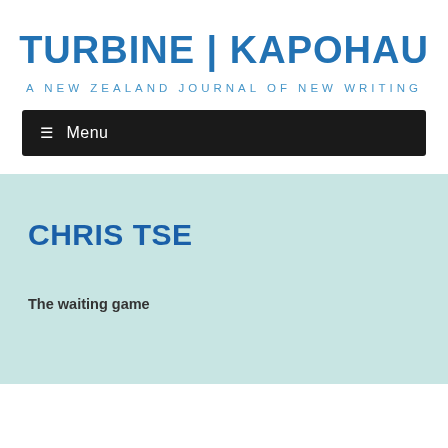TURBINE | KAPOHAU
A NEW ZEALAND JOURNAL OF NEW WRITING
☰ Menu
CHRIS TSE
The waiting game